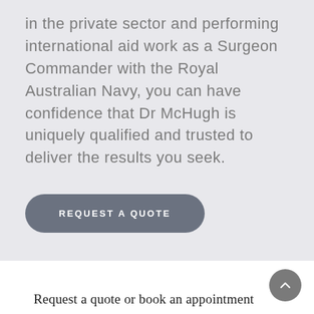in the private sector and performing international aid work as a Surgeon Commander with the Royal Australian Navy, you can have confidence that Dr McHugh is uniquely qualified and trusted to deliver the results you seek.
REQUEST A QUOTE
Request a quote or book an appointment